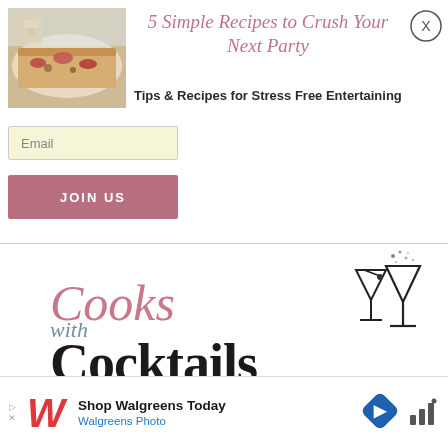[Figure (photo): Photo of flatbread pizza with toppings on a wooden board]
5 Simple Recipes to Crush Your Next Party
Tips & Recipes for Stress Free Entertaining
Email
JOIN US
[Figure (logo): Cooks with Cocktails logo with martini glass illustrations]
[Figure (infographic): Advertisement: Shop Walgreens Today - Walgreens Photo]